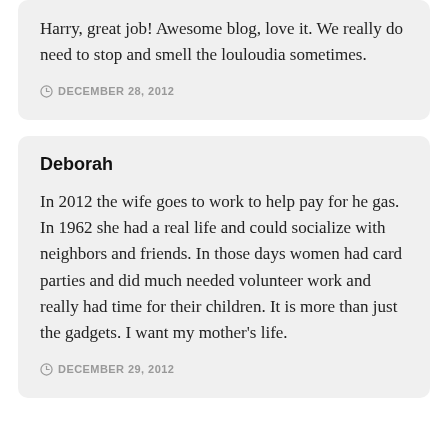Harry, great job! Awesome blog, love it. We really do need to stop and smell the louloudia sometimes.
DECEMBER 28, 2012
Deborah
In 2012 the wife goes to work to help pay for he gas. In 1962 she had a real life and could socialize with neighbors and friends. In those days women had card parties and did much needed volunteer work and really had time for their children. It is more than just the gadgets. I want my mother's life.
DECEMBER 29, 2012